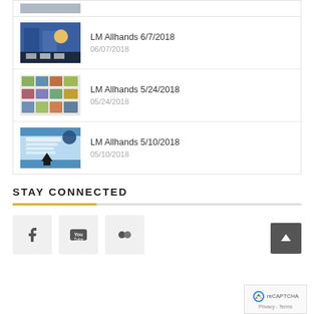LM Allhands 6/7/2018
06/07/2018
LM Allhands 5/24/2018
05/24/2018
LM Allhands 5/10/2018
05/10/2018
STAY CONNECTED
[Figure (illustration): Social media icons: Facebook, YouTube, Flickr]
[Figure (illustration): Scroll to top button and reCAPTCHA logo with Privacy - Terms text]